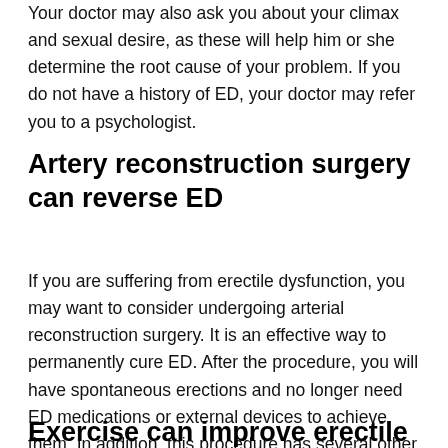Your doctor may also ask you about your climax and sexual desire, as these will help him or she determine the root cause of your problem. If you do not have a history of ED, your doctor may refer you to a psychologist.
Artery reconstruction surgery can reverse ED
If you are suffering from erectile dysfunction, you may want to consider undergoing arterial reconstruction surgery. It is an effective way to permanently cure ED. After the procedure, you will have spontaneous erections and no longer need ED medications or external devices to achieve them. In addition, this procedure has several other benefits. Here are some of them: Also you can use Vidalista to improve erection.
Exercise can improve erectile